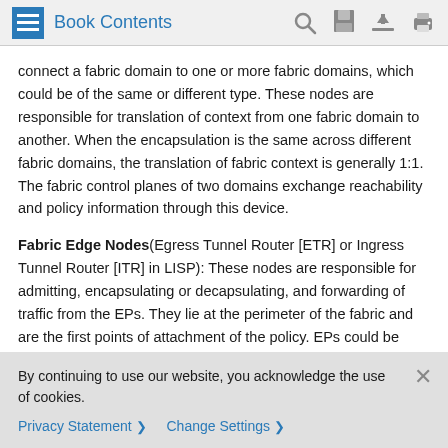Book Contents
connect a fabric domain to one or more fabric domains, which could be of the same or different type. These nodes are responsible for translation of context from one fabric domain to another. When the encapsulation is the same across different fabric domains, the translation of fabric context is generally 1:1. The fabric control planes of two domains exchange reachability and policy information through this device.
Fabric Edge Nodes(Egress Tunnel Router [ETR] or Ingress Tunnel Router [ITR] in LISP): These nodes are responsible for admitting, encapsulating or decapsulating, and forwarding of traffic from the EPs. They lie at the perimeter of the fabric and are the first points of attachment of the policy. EPs could be directly or indirectly attached to a fabric edge node using an intermediate Layer 2 network that lies outside the fabric
By continuing to use our website, you acknowledge the use of cookies.
Privacy Statement > Change Settings >